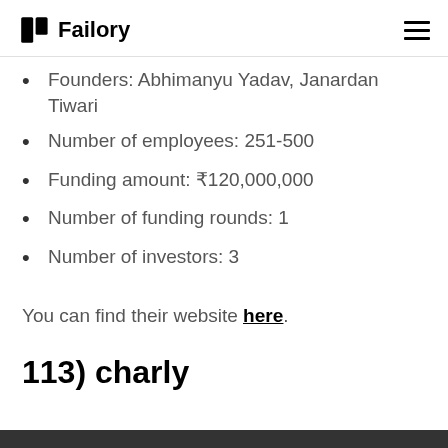Failory
Founders: Abhimanyu Yadav, Janardan Tiwari
Number of employees: 251-500
Funding amount: ₹120,000,000
Number of funding rounds: 1
Number of investors: 3
You can find their website here.
113) charly